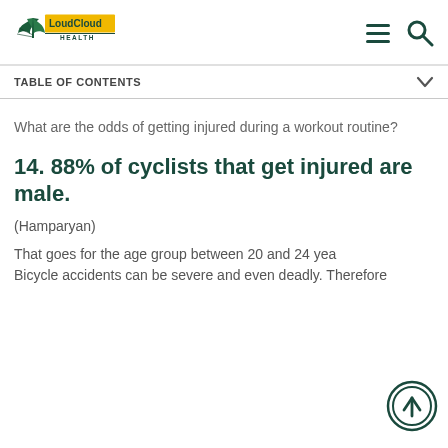LoudCloud HEALTH
TABLE OF CONTENTS
What are the odds of getting injured during a workout routine?
14. 88% of cyclists that get injured are male.
(Hamparyan)
That goes for the age group between 20 and 24 years. Bicycle accidents can be severe and even deadly. Therefore